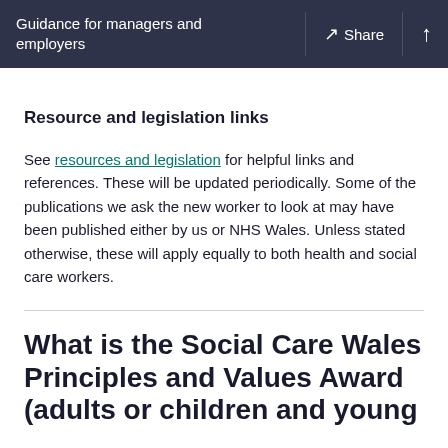Guidance for managers and employers  Share
Resource and legislation links
See resources and legislation for helpful links and references. These will be updated periodically. Some of the publications we ask the new worker to look at may have been published either by us or NHS Wales. Unless stated otherwise, these will apply equally to both health and social care workers.
What is the Social Care Wales Principles and Values Award (adults or children and young